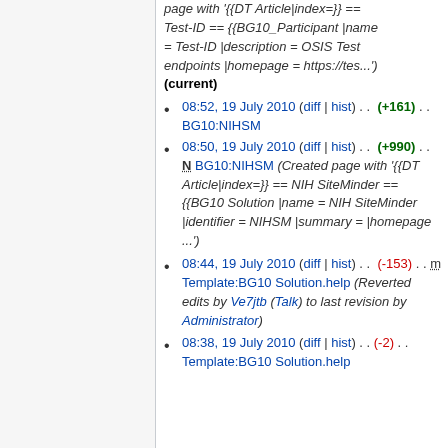page with '{{DT Article|index=}} == Test-ID == {{BG10_Participant |name = Test-ID |description = OSIS Test endpoints |homepage = https://tes...')
(current)
08:52, 19 July 2010 (diff | hist) . . (+161) . . BG10:NIHSM
08:50, 19 July 2010 (diff | hist) . . (+990) . . N BG10:NIHSM (Created page with '{{DT Article|index=}} == NIH SiteMinder == {{BG10 Solution |name = NIH SiteMinder |identifier = NIHSM |summary = |homepage ...')
08:44, 19 July 2010 (diff | hist) . . (-153) . . m Template:BG10 Solution.help (Reverted edits by Ve7jtb (Talk) to last revision by Administrator)
08:38, 19 July 2010 (diff | hist) . . (-2) . . Template:BG10 Solution.help